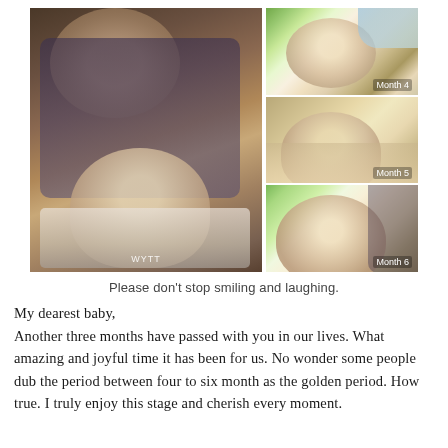[Figure (photo): Collage of four photos: a large photo on the left showing a smiling Asian woman holding a baby, and three smaller photos on the right showing a baby at Month 4, Month 5, and Month 6]
Please don't stop smiling and laughing.
My dearest baby,
Another three months have passed with you in our lives. What amazing and joyful time it has been for us. No wonder some people dub the period between four to six month as the golden period. How true. I truly enjoy this stage and cherish every moment.